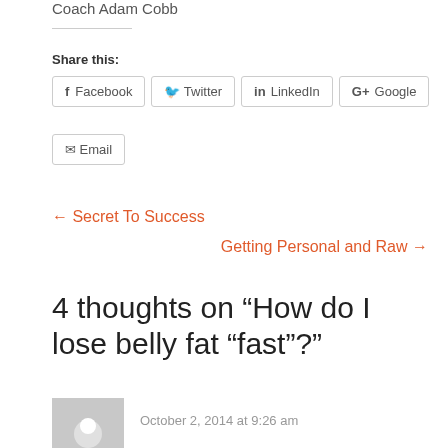Coach Adam Cobb
Share this:
Facebook
Twitter
LinkedIn
Google
Email
← Secret To Success
Getting Personal and Raw →
4 thoughts on “How do I lose belly fat “fast”?"
October 2, 2014 at 9:26 am